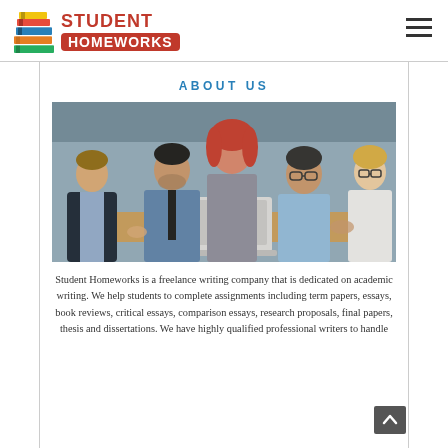[Figure (logo): Student Homeworks logo with colorful stacked books icon and red text badge]
ABOUT US
[Figure (photo): Five business professionals sitting around a table with a laptop, having a meeting in an office setting. A woman with red curly hair stands in the center.]
Student Homeworks is a freelance writing company that is dedicated on academic writing. We help students to complete assignments including term papers, essays, book reviews, critical essays, comparison essays, research proposals, final papers, thesis and dissertations. We have highly qualified professional writers to handle